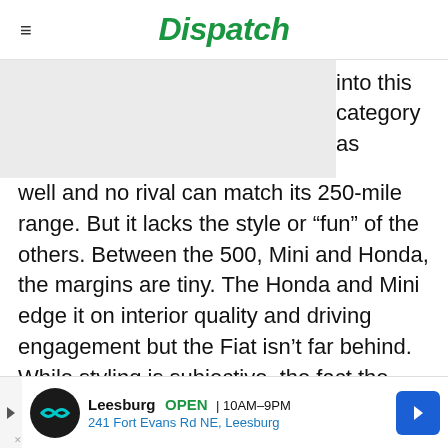Dispatch
[Figure (photo): Partially obscured image placeholder on left side of page, light gray background]
into this category as well and no rival can match its 250-mile range. But it lacks the style or “fun” of the others. Between the 500, Mini and Honda, the margins are tiny. The Honda and Mini edge it on interior quality and driving engagement but the Fiat isn’t far behind. While styling is subjective, the fact the Fiat offers better range and a lower price could be the deciding factor.
[Figure (screenshot): Advertisement banner for Leesburg store: open 10AM-9PM, 241 Fort Evans Rd NE, Leesburg]